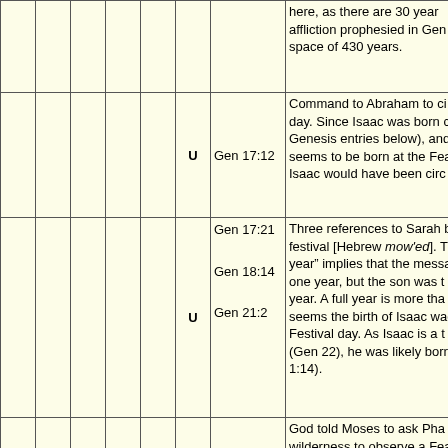|  |  |  |  |  |  |  |  | here, as there are 30 years... affliction prophesied in Gen... space of 430 years. |
|  |  |  |  |  | U | Gen 17:12 | Command to Abraham to ci... day. Since Isaac was born c... Genesis entries below), and... seems to be born at the Fe... Isaac would have been circ... |
|  |  |  |  |  | U | Gen 17:21
Gen 18:14
Gen 21:2 | Three references to Sarah b... festival [Hebrew mow'ed]. T... year" implies that the messa... one year, but the son was t... year. A full year is more tha... seems the birth of Isaac wac... Festival day. As Isaac is a t... (Gen 22), he was likely born... 1:14). |
| U | U | U | U | U U | U (underline) | Ex 5:1;
10:9 | God told Moses to ask Pha... wilderness to observe a Fea... "Feast" is chagag (verb) in c... chapter 10. They are both u... and many other verses. |
|  |  |  |  |  |  |  | An appointed time (Hebrew... difference between the Egy... Israelites. This is similar to i... |